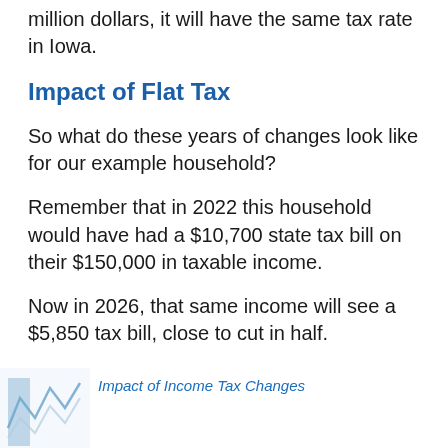million dollars, it will have the same tax rate in Iowa.
Impact of Flat Tax
So what do these years of changes look like for our example household?
Remember that in 2022 this household would have had a $10,700 state tax bill on their $150,000 in taxable income.
Now in 2026, that same income will see a $5,850 tax bill, close to cut in half.
[Figure (other): Partial view of a chart showing bars or lines for Impact of Income Tax Changes]
Impact of Income Tax Changes